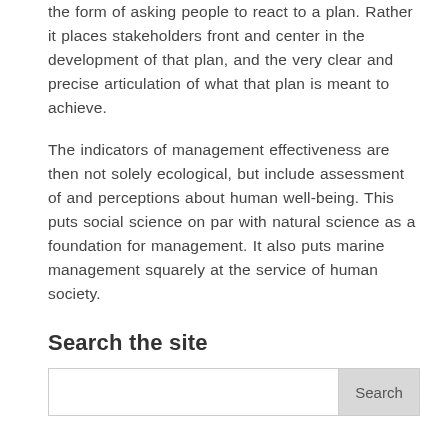the form of asking people to react to a plan. Rather it places stakeholders front and center in the development of that plan, and the very clear and precise articulation of what that plan is meant to achieve.
The indicators of management effectiveness are then not solely ecological, but include assessment of and perceptions about human well-being. This puts social science on par with natural science as a foundation for management. It also puts marine management squarely at the service of human society.
Search the site